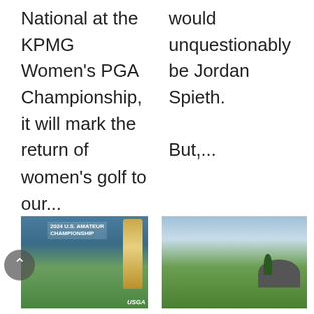National at the KPMG Women's PGA Championship, it will mark the return of women's golf to our...
would unquestionably be Jordan Spieth.

But,...
[Figure (photo): 2024 U.S. Amateur Championship promotional image with trophy and golf course, USGA branding]
[Figure (photo): Golf course fairway with sand traps, green grass, rocky hill and tree in background under cloudy sky]